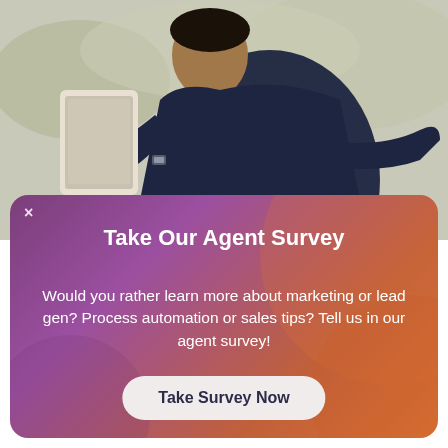[Figure (photo): A person sitting on a bench outdoors, reading on a smartphone or tablet. Wearing a dark jacket, blurred background with greenery.]
Take Our Agent Survey
Would you rather learn more about marketing or lead gen? Process automation or sales tips? Tell us in our agent survey!
Take Survey Now